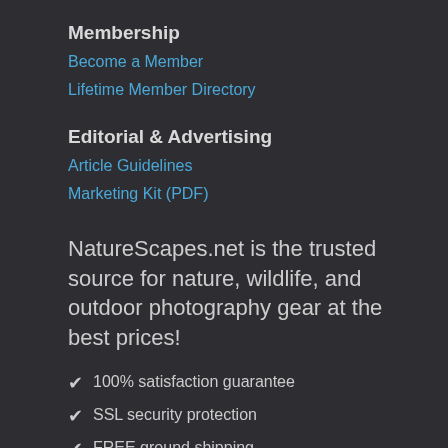Membership
Become a Member
Lifetime Member Directory
Editorial & Advertising
Article Guidelines
Marketing Kit (PDF)
NatureScapes.net is the trusted source for nature, wildlife, and outdoor photography gear at the best prices!
100% satisfaction guarantee
SSL security protection
FREE ground shipping
Friendly customer service and advice
Tried and tested gear